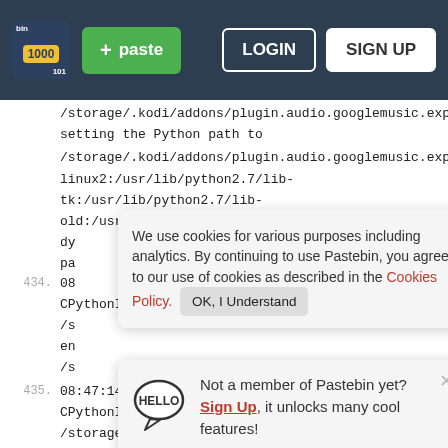Pastebin header with logo, + paste button, LOGIN and SIGN UP buttons
/storage/.kodi/addons/plugin.audio.googlemusic.exp/
setting the Python path to
/storage/.kodi/addons/plugin.audio.googlemusic.exp:/
linux2:/usr/lib/python2.7/lib-
tk:/usr/lib/python2.7/lib-
old:/usr/lib/python2.7/lib-
dy
pa
434.	08
CPythonInvoker(16,
/s
en
/s
We use cookies for various purposes including analytics. By continuing to use Pastebin, you agree to our use of cookies as described in the Cookies Policy. OK, I Understand
Not a member of Pastebin yet? Sign Up, it unlocks many cool features!
435.	08:47:14 198.239151 T:1827664800   DEBUG: CPythonInvoker(16,
/storage/.kodi/addons/plugin.audio.googlemusic.exp/d
instantiating addon using automatically obtained